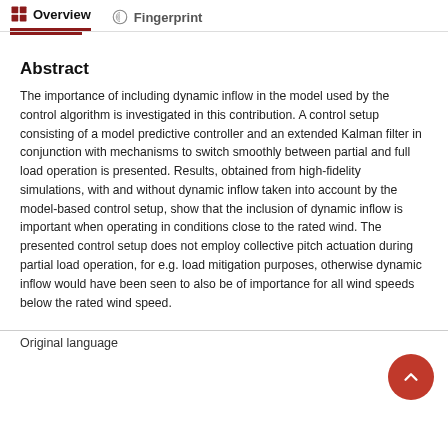Overview   Fingerprint
Abstract
The importance of including dynamic inflow in the model used by the control algorithm is investigated in this contribution. A control setup consisting of a model predictive controller and an extended Kalman filter in conjunction with mechanisms to switch smoothly between partial and full load operation is presented. Results, obtained from high-fidelity simulations, with and without dynamic inflow taken into account by the model-based control setup, show that the inclusion of dynamic inflow is important when operating in conditions close to the rated wind. The presented control setup does not employ collective pitch actuation during partial load operation, for e.g. load mitigation purposes, otherwise dynamic inflow would have been seen to also be of importance for all wind speeds below the rated wind speed.
Original language